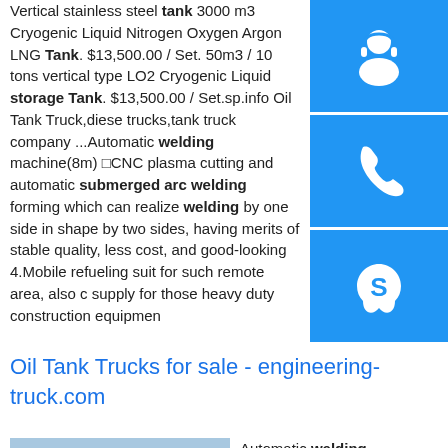Vertical stainless steel tank 3000 m3 Cryogenic Liquid Nitrogen Oxygen Argon LNG Tank. $13,500.00 / Set. 50m3 / 10 tons vertical type LO2 Cryogenic Liquid storage Tank. $13,500.00 / Set.sp.info Oil Tank Truck,diesel trucks,tank truck company ...Automatic welding machine(8m) □CNC plasma cutting and automatic submerged arc welding forming which can realize welding by one side in shape by two sides, having merits of stable quality, less cost, and good-looking 4.Mobile refueling suit for such remote area, also c supply for those heavy duty construction equipmen
[Figure (infographic): Three blue square buttons with white icons: customer support headset, telephone/phone, and Skype logo]
Oil Tank Trucks for sale - engineering-truck.com
[Figure (photo): Large white industrial storage tanks behind chain link fence under blue sky]
Automatic welding machine(8m) □CNC plasma cutting and automatic submerged arc welding forming which can realize